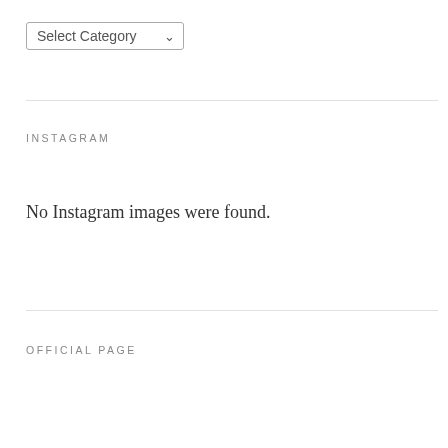[Figure (screenshot): A dropdown select box labeled 'Select Category' with a chevron/arrow icon on the right side.]
INSTAGRAM
No Instagram images were found.
OFFICIAL PAGE